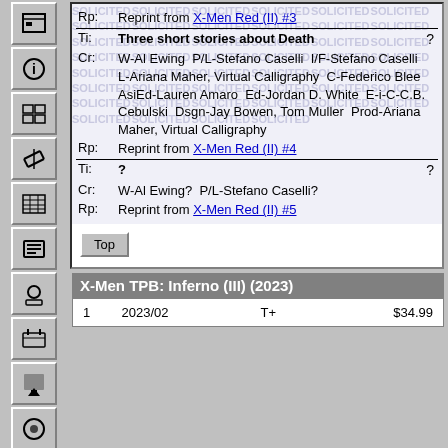Rp: Reprint from X-Men Red (II) #3
Ti: Three short stories about Death ? Cr: W-Al Ewing P/L-Stefano Caselli I/F-Stefano Caselli L-Ariana Maher, Virtual Calligraphy C-Federico Blee AsiEd-Lauren Amaro Ed-Jordan D. White E-i-C-C.B. Cebulski Dsgn-Jay Bowen, Tom Muller Prod-Ariana Maher, Virtual Calligraphy Rp: Reprint from X-Men Red (II) #4
Ti: ? ? Cr: W-Al Ewing? P/L-Stefano Caselli? Rp: Reprint from X-Men Red (II) #5
Top
X-Men TPB: Inferno (III) (2023)
| # | Date | Rating | Price |
| --- | --- | --- | --- |
| 1 | 2023/02 | T+ | $34.99 |